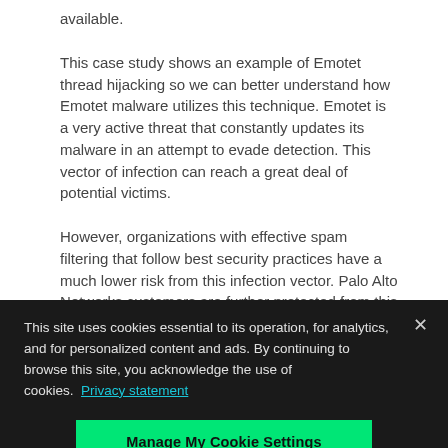available.
This case study shows an example of Emotet thread hijacking so we can better understand how Emotet malware utilizes this technique. Emotet is a very active threat that constantly updates its malware in an attempt to evade detection. This vector of infection can reach a great deal of potential victims.
However, organizations with effective spam filtering that follow best security practices have a much lower risk from this infection vector. Palo Alto Networks customers are further protected from this threat, because our Threat
This site uses cookies essential to its operation, for analytics, and for personalized content and ads. By continuing to browse this site, you acknowledge the use of cookies. Privacy statement
Manage My Cookie Settings